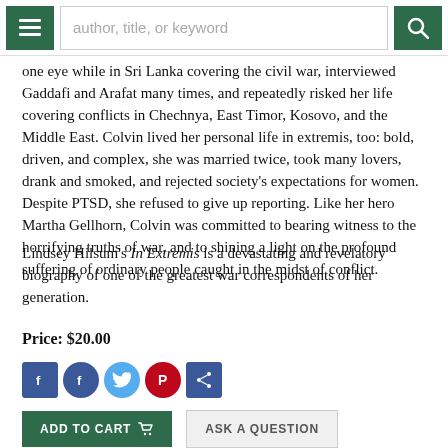author, title, or keyword [search bar with menu and search buttons]
one eye while in Sri Lanka covering the civil war, interviewed Gaddafi and Arafat many times, and repeatedly risked her life covering conflicts in Chechnya, East Timor, Kosovo, and the Middle East. Colvin lived her personal life in extremis, too: bold, driven, and complex, she was married twice, took many lovers, drank and smoked, and rejected society's expectations for women. Despite PTSD, she refused to give up reporting. Like her hero Martha Gellhorn, Colvin was committed to bearing witness to the horrifying truths of war, and to shining a light on the profound suffering of ordinary people caught in the midst of conflict.
Lindsey Hilsum's In Extremis is a devastating and revelatory biography of one of the greatest war correspondents of her generation.
Price: $20.00
[Figure (other): Social media share buttons: Facebook, Facebook, Twitter, Pinterest, Share]
ADD TO CART | ASK A QUESTION